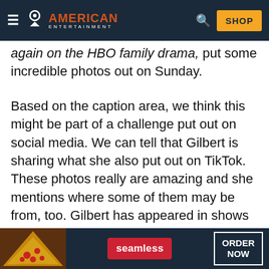American Entertainment — navigation bar with logo, search, and SHOP button
…again on the HBO family drama, put some incredible photos out on Sunday.
Based on the caption area, we think this might be part of a challenge put out on social media. We can tell that Gilbert is sharing what she also put out on TikTok. These photos really are amazing and she mentions where some of them may be from, too. Gilbert has appeared in shows like The Love Boat and in TV movies like The Diary of Anne Frank throughout her long career.
[Figure (other): Seamless food delivery advertisement banner with pizza image, Seamless logo in red, and ORDER NOW button]